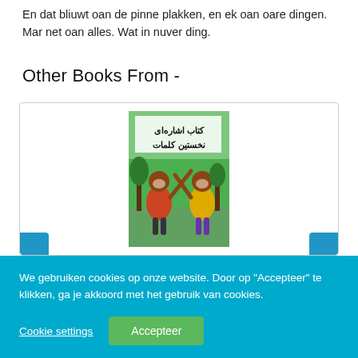En dat bliuwt oan de pinne plakken, en ek oan oare dingen. Mar net oan alles. Wat in nuver ding.
Other Books From -
[Figure (illustration): Book cover showing two cartoon monkeys gesturing at each other, with Arabic/Persian text at the top reading 'كتاب اشاره‌ای نخستین كلمات']
We gebruiken cookies op onze website. Door op "Accepteer" te klikken, ga je akkoord met het gebruik van cookies.
Cookie settings
Accepteer